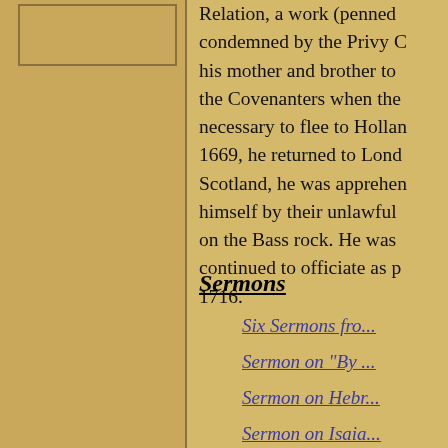[Figure (other): Left sidebar with parchment texture and a rectangular frame/box at the top]
Relation, a work (penned condemned by the Privy C his mother and brother to the Covenanters when the necessary to flee to Hollan 1669, he returned to Lond Scotland, he was apprehen himself by their unlawful on the Bass rock. He was continued to officiate as p 1716.
Sermons
Six Sermons fro...
Sermon on "By ...
Sermon on Hebr...
Sermon on Isaia...